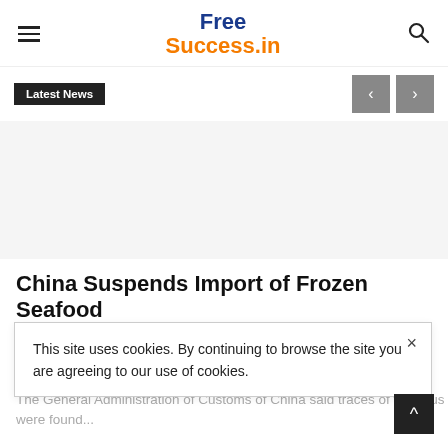Free Success.in
Latest News
[Figure (other): Advertisement / empty banner area with light gray background]
China Suspends Import of Frozen Seafood from 6 Indian Firms...
This site uses cookies. By continuing to browse the site you are agreeing to our use of cookies.
The General Administration of Customs of China said traces of the virus were found...